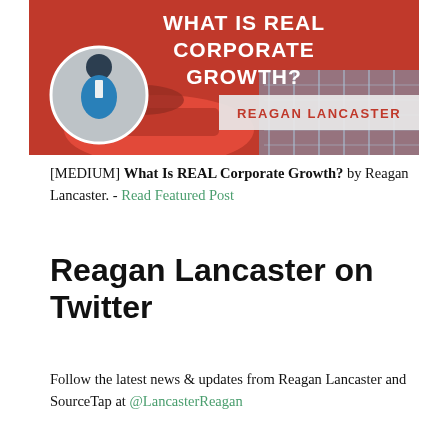[Figure (illustration): Promotional banner image for 'What Is REAL Corporate Growth?' by Reagan Lancaster. Shows a man in a blue suit next to a red sports car, with bold white text on a red background and the author's name in red text on a light background.]
[MEDIUM] What Is REAL Corporate Growth? by Reagan Lancaster. - Read Featured Post
Reagan Lancaster on Twitter
Follow the latest news & updates from Reagan Lancaster and SourceTap at @LancasterReagan